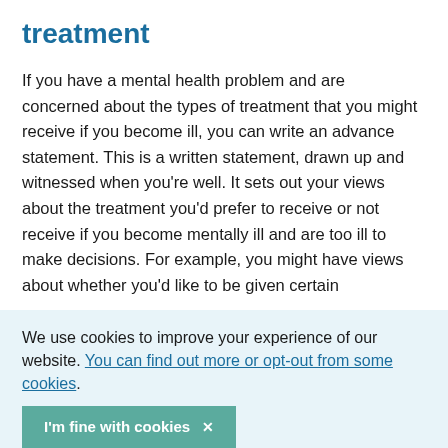treatment
If you have a mental health problem and are concerned about the types of treatment that you might receive if you become ill, you can write an advance statement. This is a written statement, drawn up and witnessed when you're well. It sets out your views about the treatment you'd prefer to receive or not receive if you become mentally ill and are too ill to make decisions. For example, you might have views about whether you'd like to be given certain
We use cookies to improve your experience of our website. You can find out more or opt-out from some cookies.
I'm fine with cookies ×